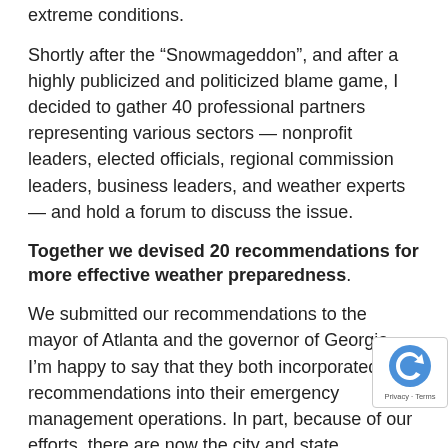extreme conditions.
Shortly after the “Snowmageddon”, and after a highly publicized and politicized blame game, I decided to gather 40 professional partners representing various sectors — nonprofit leaders, elected officials, regional commission leaders, business leaders, and weather experts — and hold a forum to discuss the issue.
Together we devised 20 recommendations for more effective weather preparedness.
We submitted our recommendations to the mayor of Atlanta and the governor of Georgia. I’m happy to say that they both incorporated the recommendations into their emergency management operations. In part, because of our efforts, there are now the city and state stipulations to discharge snow trucks early, plans for enhanced coverage by news outlets, and a schedule of staggered school dismissals ahead of snow and ice predictions.
When we consider the importance of weather and the...